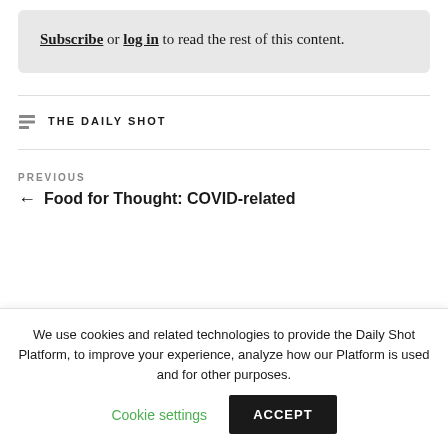Subscribe or log in to read the rest of this content.
THE DAILY SHOT
PREVIOUS
← Food for Thought: COVID-related
We use cookies and related technologies to provide the Daily Shot Platform, to improve your experience, analyze how our Platform is used and for other purposes.
Cookie settings
ACCEPT